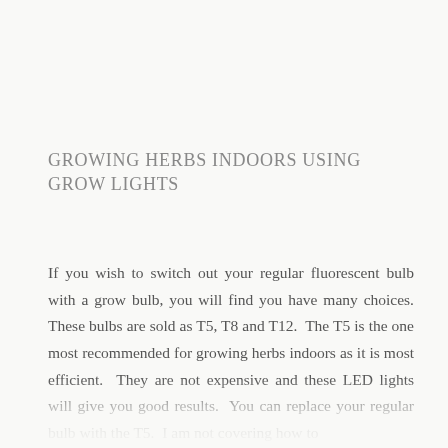GROWING HERBS INDOORS USING GROW LIGHTS
If you wish to switch out your regular fluorescent bulb with a grow bulb, you will find you have many choices. These bulbs are sold as T5, T8 and T12.  The T5 is the one most recommended for growing herbs indoors as it is most efficient.  They are not expensive and these LED lights will give you good results.  You can replace your regular bulb with the T5.  I am not covering how to